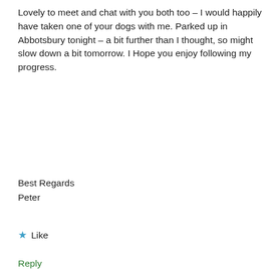Lovely to meet and chat with you both too – I would happily have taken one of your dogs with me. Parked up in Abbotsbury tonight – a bit further than I thought, so might slow down a bit tomorrow. I Hope you enjoy following my progress.
Best Regards
Peter
★ Like
Reply
Privacy & Cookies: This site uses cookies. By continuing to use this website, you agree to their use.
To find out more, including how to control cookies, see here: Cookie Policy
Close and accept